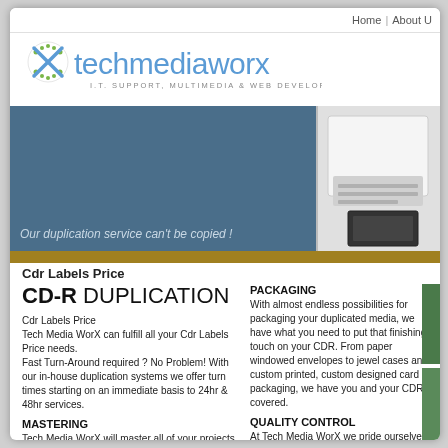Home | About U
[Figure (logo): TechMediaWorx logo with green X icon, blue text 'techmediaworx', subtitle 'I.T. SUPPORT, MULTIMEDIA & WEB DEVELOPMENT']
[Figure (photo): Banner with dark teal/blue background on left, photo of CD/media equipment on right, italic caption 'Our duplication service can't be copied !']
Cdr Labels Price
CD-R DUPLICATION
Cdr Labels Price
Tech Media WorX can fulfill all your Cdr Labels Price needs.
Fast Turn-Around required ? No Problem! With our in-house duplication systems we offer turn times starting on an immediate basis to 24hr & 48hr services.
MASTERING
Tech Media WorX will master all of your projects with the highest standards. We keep all masters on file to make your reorders
PACKAGING
With almost endless possibilities for packaging your duplicated media, we have what you need to put that finishing touch on your CDR. From paper windowed envelopes to jewel cases and custom printed, custom designed card packaging, we have you and your CDR covered.
QUALITY CONTROL
At Tech Media WorX we pride ourselves in the efforts